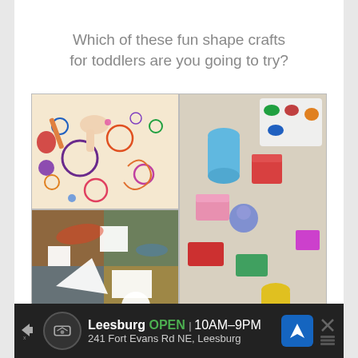Which of these fun shape crafts for toddlers are you going to try?
[Figure (photo): Collage of four photos showing toddler shape craft activities: top-left shows a child stamping circles with paint; top-right shows colorful sponge/block stamps on paper; bottom-left shows a painted canvas with white geometric shapes; bottom-right shows colorful painted block stamps arranged on paper. Below the photos is a graphic title reading SHAPE Crafts for Toddlers, and a bottom strip showing partial images of more crafts.]
Leesburg  OPEN  10AM–9PM  241 Fort Evans Rd NE, Leesburg